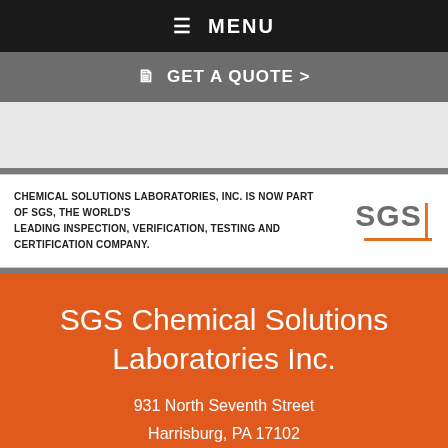≡ MENU
GET A QUOTE >
CHEMICAL SOLUTIONS LABORATORIES, INC. IS NOW PART OF SGS, THE WORLD'S LEADING INSPECTION, VERIFICATION, TESTING AND CERTIFICATION COMPANY.
[Figure (logo): SGS company logo with orange underline bar]
SGS Chemical Solutions Laboratories Inc.
931 North Seventh Street
Harrisburg, PA 17102
(717) 697-7536
[Figure (logo): FDA logo and APHIS logo certification marks in white]